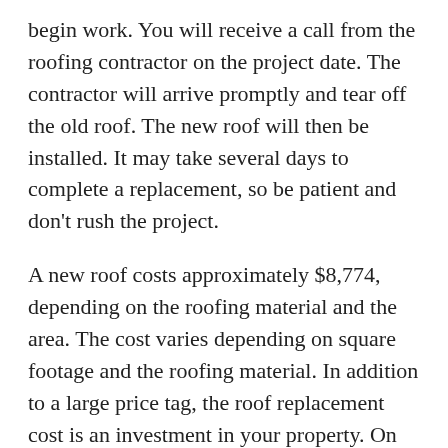begin work. You will receive a call from the roofing contractor on the project date. The contractor will arrive promptly and tear off the old roof. The new roof will then be installed. It may take several days to complete a replacement, so be patient and don't rush the project.
A new roof costs approximately $8,774, depending on the roofing material and the area. The cost varies depending on square footage and the roofing material. In addition to a large price tag, the roof replacement cost is an investment in your property. On average, a newly replaced roof will last between 30 and 100 years, depending on the material used. The average tear-off and replacement cost for a roof are usually recouped upon the home's sale.
The most important repair you can make is your home's roof. Although repairing leaks may extend life,